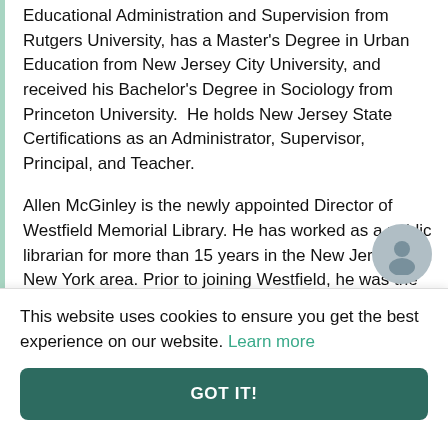Educational Administration and Supervision from Rutgers University, has a Master's Degree in Urban Education from New Jersey City University, and received his Bachelor's Degree in Sociology from Princeton University. He holds New Jersey State Certifications as an Administrator, Supervisor, Principal, and Teacher.
Allen McGinley is the newly appointed Director of Westfield Memorial Library. He has worked as a public librarian for more than 15 years in the New Jersey and New York area. Prior to joining Westfield, he was the Director of Teaneck Public Library in Bergen County, and worked for 10 years at the Piscataway Public Library in Middlesex County and he was not The New...
This website uses cookies to ensure you get the best experience on our website. Learn more
GOT IT!